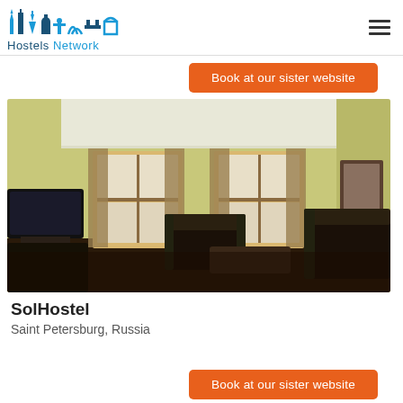Hostels Network
Book at our sister website
[Figure (photo): Interior room photo of SolHostel showing a yellow-walled living room with dark leather sofas, a flat-screen TV, two windows with sheer curtains, and a framed picture on the wall.]
SolHostel
Saint Petersburg, Russia
Book at our sister website